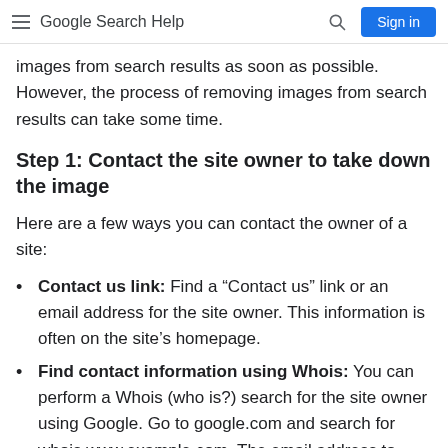Google Search Help
images from search results as soon as possible. However, the process of removing images from search results can take some time.
Step 1: Contact the site owner to take down the image
Here are a few ways you can contact the owner of a site:
Contact us link: Find a “Contact us” link or an email address for the site owner. This information is often on the site’s homepage.
Find contact information using Whois: You can perform a Whois (who is?) search for the site owner using Google. Go to google.com and search for whois www.example.com. The email address to contact the site owner can often be found under